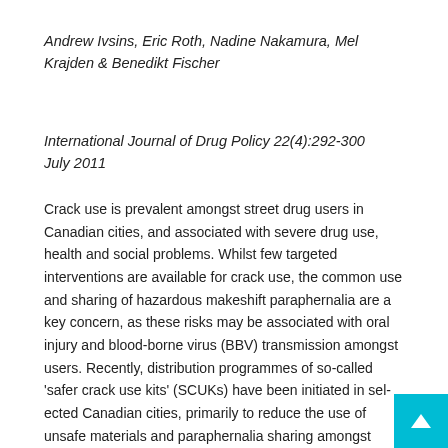Andrew Ivsins, Eric Roth, Nadine Nakamura, Mel Krajden & Benedikt Fischer
International Journal of Drug Policy 22(4):292-300
July 2011
Crack use is prevalent amongst street drug users in Canadian cities, and associated with severe drug use, health and social problems. Whilst few targeted interventions are available for crack use, the common use and sharing of hazardous makeshift paraphernalia are a key concern, as these risks may be associated with oral injury and blood-borne virus (BBV) transmission amongst users. Recently, distribution programmes of so-called 'safer crack use kits' (SCUKs) have been initiated in selected Canadian cities, primarily to reduce the use of unsafe materials and paraphernalia sharing amongst crack users. This study explored uptake and benefits of, barriers to, and possible improvements to two recently implemented SCUK distribution programme in Victoria, Canada.